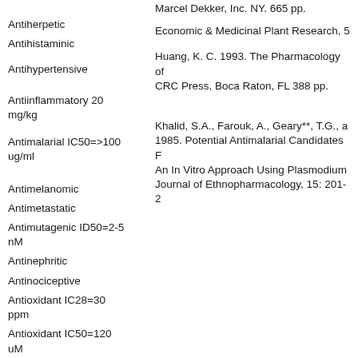Marcel Dekker, Inc. NY. 665 pp.
Antiherpetic
Economic & Medicinal Plant Research, 5
Antihistaminic
Antihypertensive
Huang, K. C. 1993. The Pharmacology of Chinese Herbs. CRC Press, Boca Raton, FL 388 pp.
Antiinflammatory 20 mg/kg
Khalid, S.A., Farouk, A., Geary**, T.G., a 1985. Potential Antimalarial Candidates F An In Vitro Approach Using Plasmodium Journal of Ethnopharmacology, 15: 201-2
Antimalarial IC50=>100 ug/ml
Antimelanomic
Antimetastatic
Antimutagenic ID50=2-5 nM
Antinephritic
Antinociceptive
Antioxidant IC28=30 ppm
Antioxidant IC50=120 uM
Antioxidant IC54=10 uM